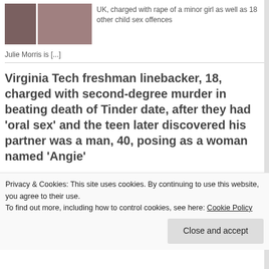[Figure (photo): Two photos side by side: a person in purple top and black pants, and a woman with long dark hair]
UK, charged with rape of a minor girl as well as 18 other child sex offences
Julie Morris is [...]
Virginia Tech freshman linebacker, 18, charged with second-degree murder in beating death of Tinder date, after they had ‘oral sex’ and the teen later discovered his partner was a man, 40, posing as a woman named ‘Angie’
Privacy & Cookies: This site uses cookies. By continuing to use this website, you agree to their use.
To find out more, including how to control cookies, see here: Cookie Policy
Close and accept